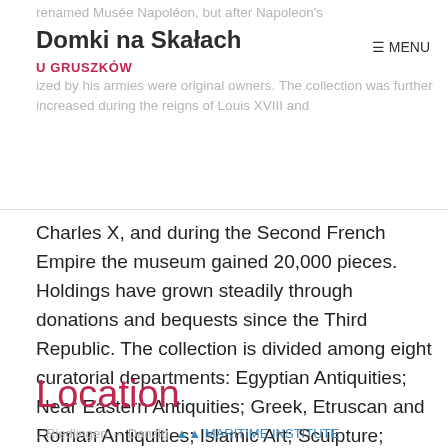renamed Musée Napoléon, but after Napoleon's [site title: Domki na Skałach / U GRUSZKÓW] ≡ MENU
renamed Musée Napoléon, but after Napoleon's
Domki na Skałach
U GRUSZKÓW
≡ MENU
ized by his armies were original owners. The collection was further increased during the reigns of Louis XVIII and
Charles X, and during the Second French Empire the museum gained 20,000 pieces. Holdings have grown steadily through donations and bequests since the Third Republic. The collection is divided among eight curatorial departments: Egyptian Antiquities; Near Eastern Antiquities; Greek, Etruscan and Roman Antiquities; Islamic Art; Sculpture; Decorative Arts; Paintings; Prints and Drawings.
Location
↓ Riedlingen → Danzig AA MARITIME INSTITUTE...